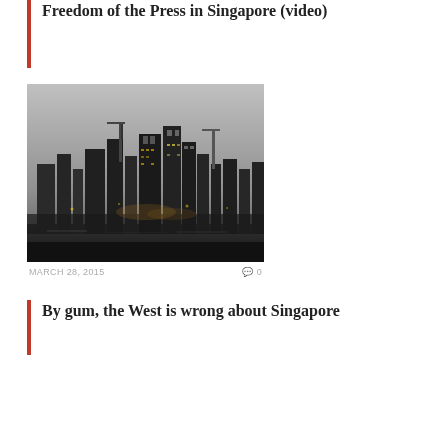Freedom of the Press in Singapore (video)
[Figure (photo): Black and white nighttime cityscape photo of Singapore skyline with tall skyscrapers and cranes]
MARCH 28, 2015   0
By gum, the West is wrong about Singapore